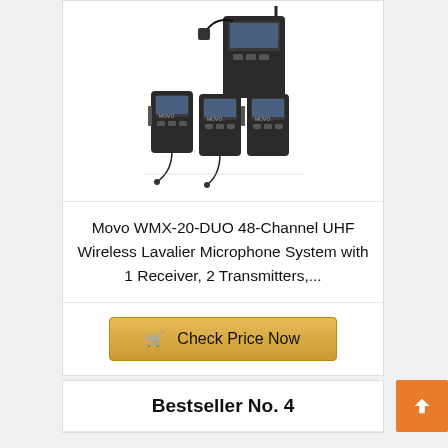[Figure (photo): Product photo of Movo WMX-20-DUO wireless microphone system showing receiver unit and two transmitters with lavalier microphones]
Movo WMX-20-DUO 48-Channel UHF Wireless Lavalier Microphone System with 1 Receiver, 2 Transmitters,...
Check Price Now
Bestseller No. 4